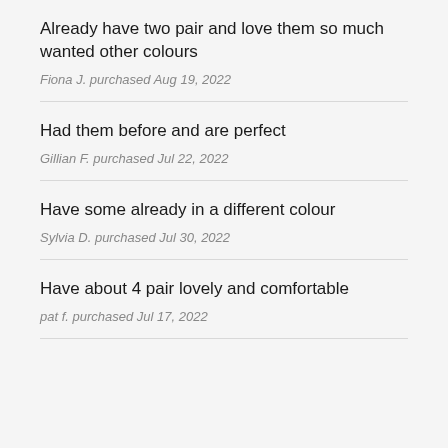Already have two pair and love them so much wanted other colours
Fiona J. purchased Aug 19, 2022
Had them before and are perfect
Gillian F. purchased Jul 22, 2022
Have some already in a different colour
Sylvia D. purchased Jul 30, 2022
Have about 4 pair lovely and comfortable
pat f. purchased Jul 17, 2022